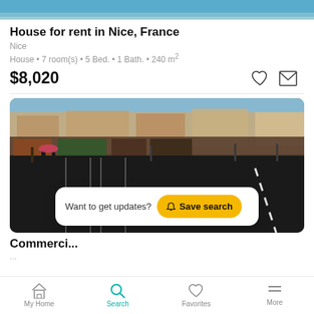[Figure (photo): Top portion of a property photo showing water/sea view, cropped at top]
House for rent in Nice, France
Nice
House • 7 room(s) • 5 Bed. • 1 Bath. • 240 m²
$8,020
[Figure (photo): Street scene in Nice, France with tram tracks and palm trees. DrHouse-Immo watermark. Overlay: 'Want to get updates? Save search' button.]
Commerci...
My Home  Search  Favorites  More